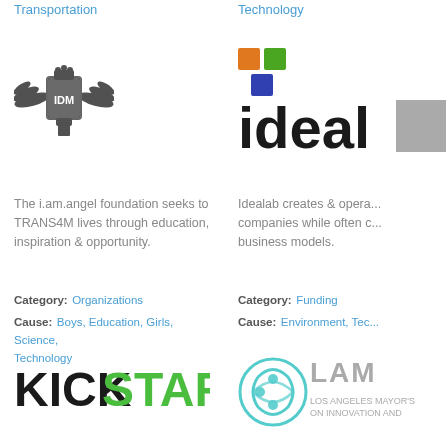Transportation
[Figure (logo): i.am.angel foundation logo - ornate winged shield emblem]
The i.am.angel foundation seeks to TRANS4M lives through education, inspiration & opportunity.
Category: Organizations
Cause: Boys, Education, Girls, Science, Technology
Technology
[Figure (logo): Idealab logo - colorful squares above bold 'idealab' text]
Idealab creates & opera... companies while often c... business models.
Category: Funding
Cause: Environment, Tec...
[Figure (logo): Kickstarter logo - black KICK and green STARTER text]
[Figure (logo): LAMO - Los Angeles Mayor's Office on Innovation and logo]